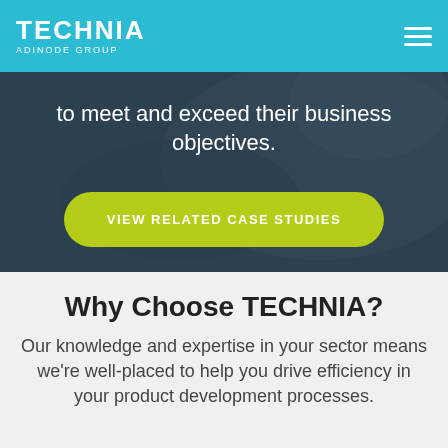TECHNIA ADINODE GROUP
to meet and exceed their business objectives.
VIEW RELATED CASE STUDIES
Why Choose TECHNIA?
Our knowledge and expertise in your sector means we’re well-placed to help you drive efficiency in your product development processes.